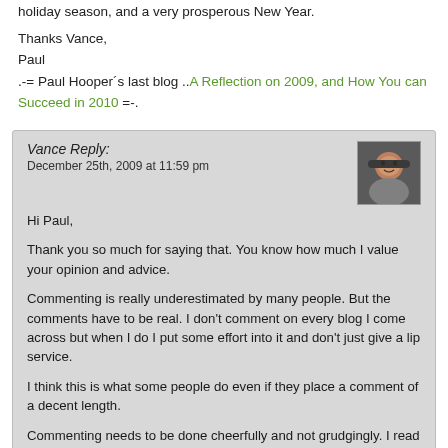holiday season, and a very prosperous New Year.
Thanks Vance,
Paul
.-= Paul Hooper´s last blog ..A Reflection on 2009, and How You can Succeed in 2010 =-.
Vance Reply:
December 25th, 2009 at 11:59 pm

Hi Paul,

Thank you so much for saying that. You know how much I value your opinion and advice.

Commenting is really underestimated by many people. But the comments have to be real. I don't comment on every blog I come across but when I do I put some effort into it and don't just give a lip service.

I think this is what some people do even if they place a comment of a decent length.

Commenting needs to be done cheerfully and not grudgingly. I read on one blog the expression to the effect that the blogger doesn't feel like prostituting themselves by going to other blogs and commenting anymore.

They shouldn't have commented in the first place with this attitude. It shows that all those comments were really phony.